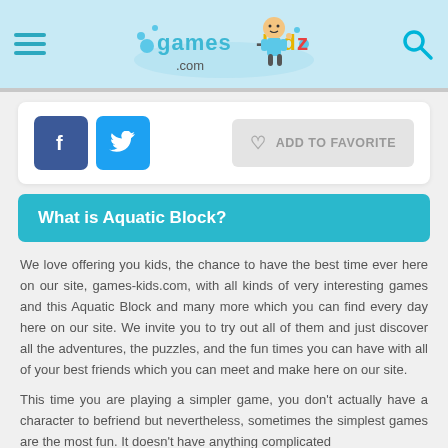games-kids.com navigation header with hamburger menu, logo, and search icon
[Figure (logo): games-kids.com logo with cartoon kid and colorful splash]
ADD TO FAVORITE (Facebook and Twitter share buttons)
What is Aquatic Block?
We love offering you kids, the chance to have the best time ever here on our site, games-kids.com, with all kinds of very interesting games and this Aquatic Block and many more which you can find every day here on our site. We invite you to try out all of them and just discover all the adventures, the puzzles, and the fun times you can have with all of your best friends which you can meet and make here on our site.
This time you are playing a simpler game, you don't actually have a character to befriend but nevertheless, sometimes the simplest games are the most fun. It doesn't have anything complicated